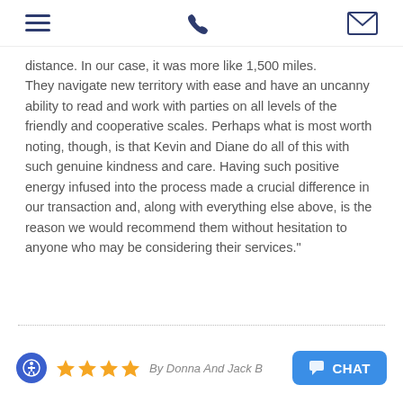[hamburger menu icon] [phone icon] [mail icon]
distance. In our case, it was more like 1,500 miles. They navigate new territory with ease and have an uncanny ability to read and work with parties on all levels of the friendly and cooperative scales. Perhaps what is most worth noting, though, is that Kevin and Diane do all of this with such genuine kindness and care. Having such positive energy infused into the process made a crucial difference in our transaction and, along with everything else above, is the reason we would recommend them without hesitation to anyone who may be considering their services."
By Donna And Jack B — 4 stars
CHAT